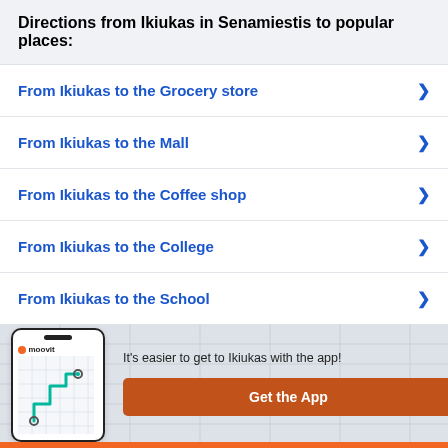Directions from Ikiukas in Senamiestis to popular places:
From Ikiukas to the Grocery store
From Ikiukas to the Mall
From Ikiukas to the Coffee shop
From Ikiukas to the College
From Ikiukas to the School
[Figure (screenshot): Moovit app phone illustration with map route shown]
It's easier to get to Ikiukas with the app!
Get the App